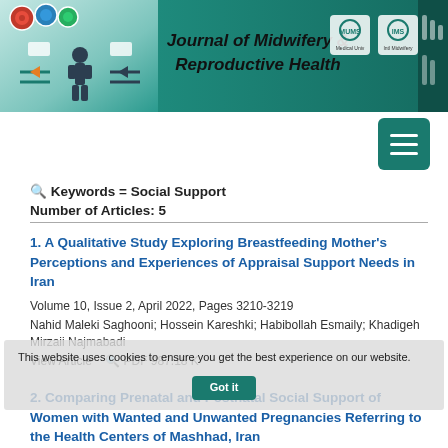[Figure (illustration): Journal of Midwifery and Reproductive Health banner header with teal/green background, human figure icons, arrows, and institutional logos]
🔍 Keywords = Social Support
Number of Articles: 5
1. A Qualitative Study Exploring Breastfeeding Mother's Perceptions and Experiences of Appraisal Support Needs in Iran
Volume 10, Issue 2, April 2022, Pages 3210-3219
Nahid Maleki Saghooni; Hossein Kareshki; Habibollah Esmaily; Khadigeh Mirzaii Najmabadi
View Article   🔍 PDF 987.18 K
This website uses cookies to ensure you get the best experience on our website.
2. Comparing Prenatal and Postnatal Social Support of Women with Wanted and Unwanted Pregnancies Referring to the Health Centers of Mashhad, Iran